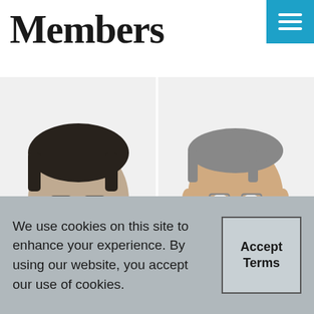Members
[Figure (photo): Two professional headshot photos of male members in business attire, black and white. Left: younger man with glasses and beard in grey suit with dark tie. Right: older man with glasses in dark suit with striped tie. Partial heads of two more members visible at bottom.]
We use cookies on this site to enhance your experience. By using our website, you accept our use of cookies.
Accept Terms